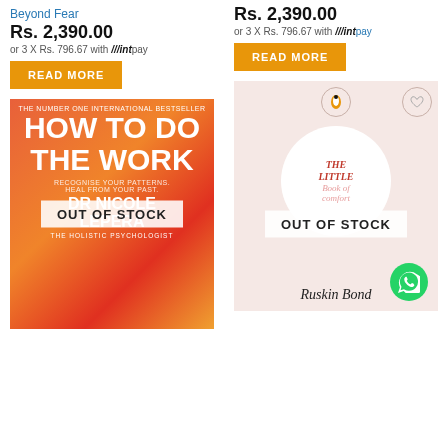Beyond Fear
Rs. 2,390.00
or 3 X Rs. 796.67 with mintpay
READ MORE
Rs. 2,390.00
or 3 X Rs. 796.67 with mintpay
READ MORE
[Figure (photo): Book cover: How To Do The Work by Dr Nicole LePera (The Holistic Psychologist), orange/red gradient background, with OUT OF STOCK overlay]
[Figure (photo): Book cover: The Little Book of Comfort by Ruskin Bond, pink/cream background with white circle design, Penguin logo, heart icon, OUT OF STOCK overlay, WhatsApp button]